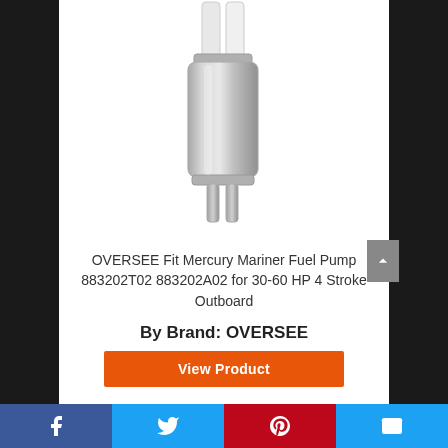[Figure (photo): Photo of a cylindrical metal fuel pump (OVERSEE brand) with white plastic fittings on top and metal nozzles at the bottom, on white background]
OVERSEE Fit Mercury Mariner Fuel Pump 883202T02 883202A02 for 30-60 HP 4 Stroke Outboard
By Brand: OVERSEE
View Product